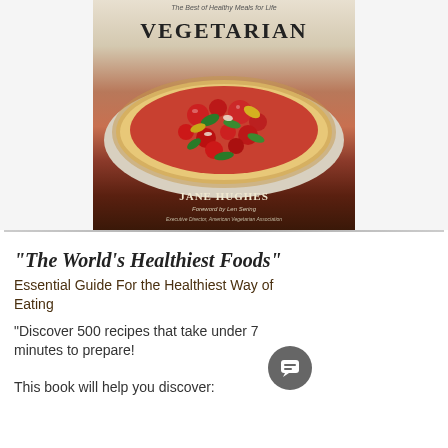[Figure (photo): Book cover of a Vegetarian cookbook by Jane Hughes, featuring a rustic tomato galette/tart with cherry tomatoes, green basil leaves, and sliced zucchini on a flaky pastry crust. Title 'VEGETARIAN' is displayed prominently at the top. Author name 'JANE HUGHES' at bottom with foreword credit to Len Sering, Executive Director American Vegetarian Association.]
"The World's Healthiest Foods"
Essential Guide For the Healthiest Way of Eating
"Discover 500 recipes that take under 7 minutes to prepare!
This book will help you discover: